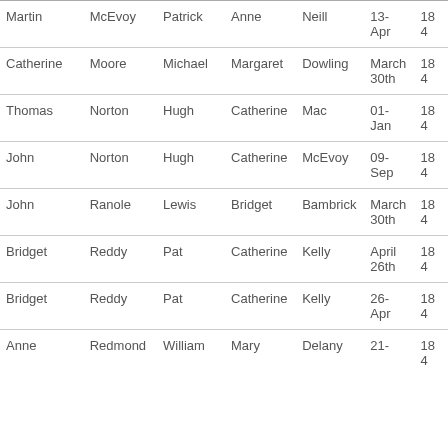| Martin | McEvoy | Patrick | Anne | Neill | 13-Apr | 184 |
| Catherine | Moore | Michael | Margaret | Dowling | March 30th | 184 |
| Thomas | Norton | Hugh | Catherine | Mac | 01-Jan | 184 |
| John | Norton | Hugh | Catherine | McEvoy | 09-Sep | 184 |
| John | Ranole | Lewis | Bridget | Bambrick | March 30th | 184 |
| Bridget | Reddy | Pat | Catherine | Kelly | April 26th | 184 |
| Bridget | Reddy | Pat | Catherine | Kelly | 26-Apr | 184 |
| Anne | Redmond | William | Mary | Delany | 21- | 184 |